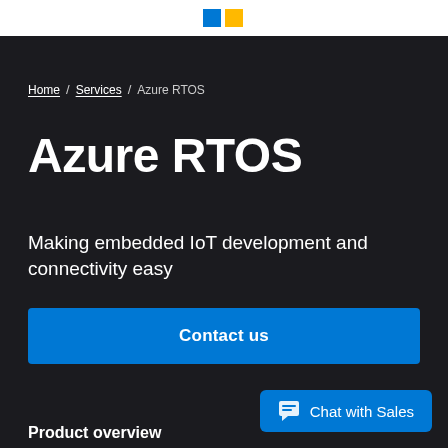Microsoft logo
Home / Services / Azure RTOS
Azure RTOS
Making embedded IoT development and connectivity easy
Contact us
Chat with Sales
Product overview